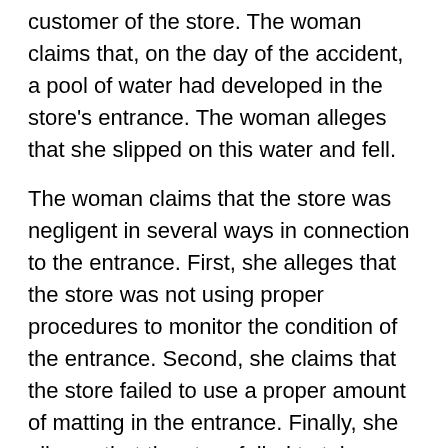customer of the store. The woman claims that, on the day of the accident, a pool of water had developed in the store's entrance. The woman alleges that she slipped on this water and fell.
The woman claims that the store was negligent in several ways in connection to the entrance. First, she alleges that the store was not using proper procedures to monitor the condition of the entrance. Second, she claims that the store failed to use a proper amount of matting in the entrance. Finally, she alleges that the store failed to take action to clean up the pool of water or warn customers of its presence.
The woman alleges that the slip and fall accident caused her to suffer injuries to her back, neck